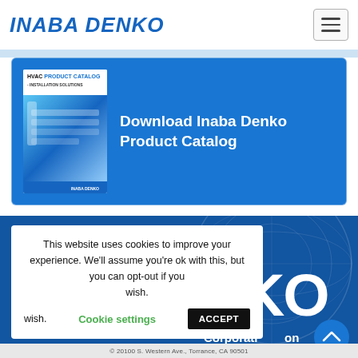INABA DENKO
[Figure (screenshot): Inaba Denko HVAC Product Catalog thumbnail image showing blue HVAC installation equipment]
Download Inaba Denko Product Catalog
This website uses cookies to improve your experience. We'll assume you're ok with this, but you can opt-out if you wish.
Cookie settings   ACCEPT
[Figure (logo): NKO large white text on dark blue background with globe illustration, Corporation text and scroll-up button]
© 20100 S. Western Ave., Torrance, CA 90501